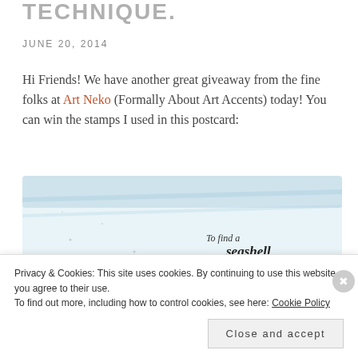TECHNIQUE.
JUNE 20, 2014
Hi Friends! We have another great giveaway from the fine folks at Art Neko (Formally About Art Accents) today! You can win the stamps I used in this postcard:
[Figure (illustration): Watercolor postcard illustration showing a crab on a sandy beach with a quote: 'To find a seashell is to discover a world of imagination (Michelle Held)' on a light blue watercolor background.]
Privacy & Cookies: This site uses cookies. By continuing to use this website, you agree to their use. To find out more, including how to control cookies, see here: Cookie Policy
Close and accept